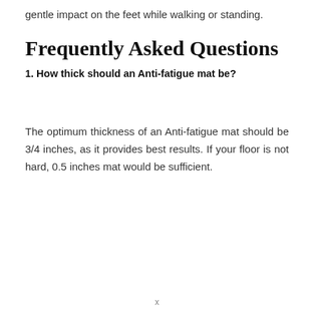gentle impact on the feet while walking or standing.
Frequently Asked Questions
1. How thick should an Anti-fatigue mat be?
The optimum thickness of an Anti-fatigue mat should be 3/4 inches, as it provides best results. If your floor is not hard, 0.5 inches mat would be sufficient.
x